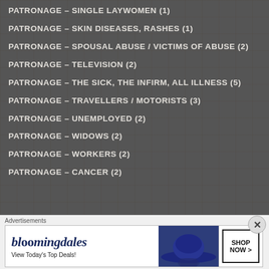PATRONAGE – SINGLE LAYWOMEN (1)
PATRONAGE – SKIN DISEASES, RASHES (1)
PATRONAGE – SPOUSAL ABUSE / VICTIMS OF ABUSE (2)
PATRONAGE – TELEVISION (2)
PATRONAGE – THE SICK, THE INFIRM, ALL ILLNESS (5)
PATRONAGE – TRAVELLERS / MOTORISTS (3)
PATRONAGE – UNEMPLOYED (2)
PATRONAGE – WIDOWS (2)
PATRONAGE – WORKERS (2)
PATRONAGE – CANCER (2)
[Figure (illustration): Bloomingdales advertisement banner. Shows Bloomingdales logo with italic text, tagline 'View Today's Top Deals!', woman wearing a large blue hat, and a 'SHOP NOW >' button.]